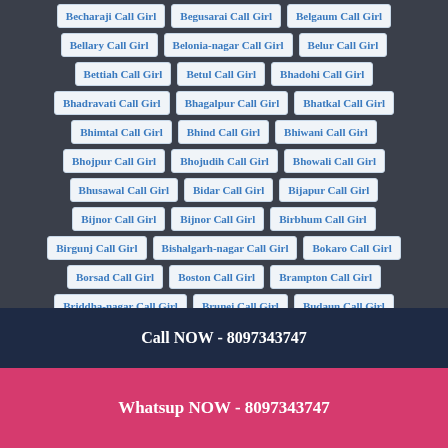Becharaji Call Girl
Begusarai Call Girl
Belgaum Call Girl
Bellary Call Girl
Belonia-nagar Call Girl
Belur Call Girl
Bettiah Call Girl
Betul Call Girl
Bhadohi Call Girl
Bhadravati Call Girl
Bhagalpur Call Girl
Bhatkal Call Girl
Bhimtal Call Girl
Bhind Call Girl
Bhiwani Call Girl
Bhojpur Call Girl
Bhojudih Call Girl
Bhowali Call Girl
Bhusawal Call Girl
Bidar Call Girl
Bijapur Call Girl
Bijnor Call Girl
Bijnor Call Girl
Birbhum Call Girl
Birgunj Call Girl
Bishalgarh-nagar Call Girl
Bokaro Call Girl
Borsad Call Girl
Boston Call Girl
Brampton Call Girl
Briddha-nagar Call Girl
Brunei Call Girl
Budaun Call Girl
Bulandshahr Call Girl
Bulgaria Call Girl
Burhanpur Call Girl
Burlington Call Girl
Butwal Call Girl
Buxar Call Girl
Call NOW - 8097343747
Whatsup NOW - 8097343747